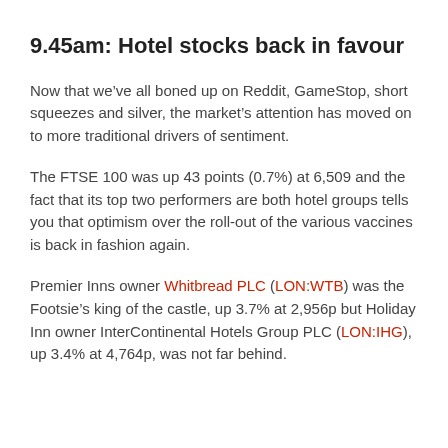9.45am: Hotel stocks back in favour
Now that we've all boned up on Reddit, GameStop, short squeezes and silver, the market's attention has moved on to more traditional drivers of sentiment.
The FTSE 100 was up 43 points (0.7%) at 6,509 and the fact that its top two performers are both hotel groups tells you that optimism over the roll-out of the various vaccines is back in fashion again.
Premier Inns owner Whitbread PLC (LON:WTB) was the Footsie's king of the castle, up 3.7% at 2,956p but Holiday Inn owner InterContinental Hotels Group PLC (LON:IHG), up 3.4% at 4,764p, was not far behind.